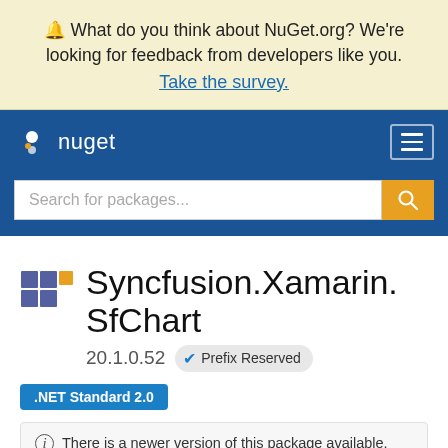🔔 What do you think about NuGet.org? We're looking for feedback from developers like you. Take the survey.
[Figure (logo): NuGet logo and navigation bar with hamburger menu and search box]
Syncfusion.Xamarin.SfChart
20.1.0.52 ✔ Prefix Reserved
.NET Standard 2.0
ⓘ There is a newer version of this package available.